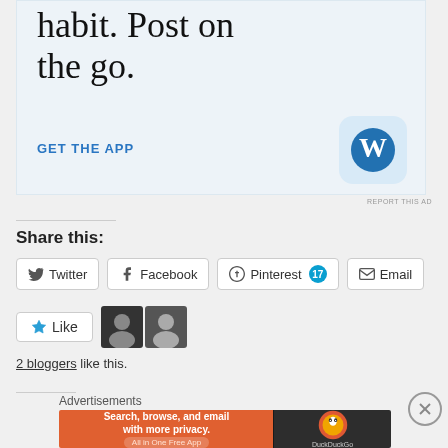[Figure (screenshot): WordPress app advertisement with text 'habit. Post on the go.' and 'GET THE APP' call to action with WordPress icon]
REPORT THIS AD
Share this:
Twitter  Facebook  Pinterest 17  Email
Like  [2 blogger avatars]
2 bloggers like this.
Advertisements
[Figure (screenshot): DuckDuckGo advertisement banner: 'Search, browse, and email with more privacy. All in One Free App']